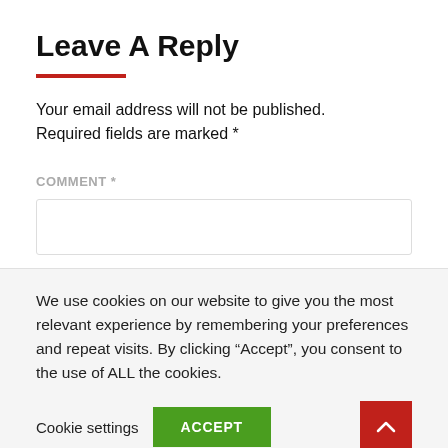Leave A Reply
Your email address will not be published. Required fields are marked *
COMMENT *
We use cookies on our website to give you the most relevant experience by remembering your preferences and repeat visits. By clicking “Accept”, you consent to the use of ALL the cookies.
Cookie settings  ACCEPT